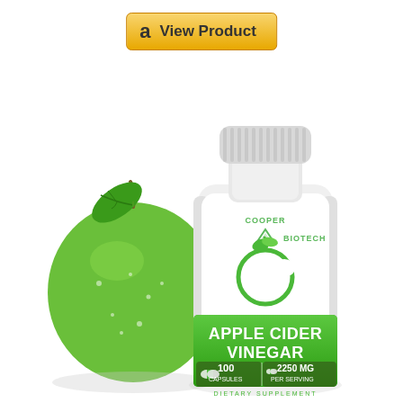[Figure (other): Amazon 'View Product' button with Amazon logo 'a' icon on golden/yellow background]
[Figure (photo): Cooper Biotech Apple Cider Vinegar supplement bottle (white plastic) with green label showing 'APPLE CIDER VINEGAR', '100 CAPSULES', '2250 MG PER SERVING', 'DIETARY SUPPLEMENT'. Green apple illustration with leaf on left side of bottle. Cooper Biotech logo with triangle icon on bottle.]